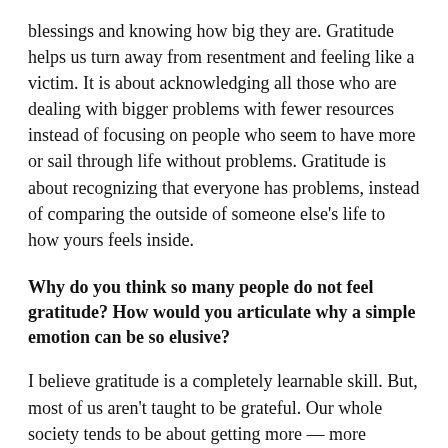blessings and knowing how big they are. Gratitude helps us turn away from resentment and feeling like a victim. It is about acknowledging all those who are dealing with bigger problems with fewer resources instead of focusing on people who seem to have more or sail through life without problems. Gratitude is about recognizing that everyone has problems, instead of comparing the outside of someone else's life to how yours feels inside.
Why do you think so many people do not feel gratitude? How would you articulate why a simple emotion can be so elusive?
I believe gratitude is a completely learnable skill. But, most of us aren't taught to be grateful. Our whole society tends to be about getting more — more money, more love, more recognition. We are addicted to “more”. We think happiness depends